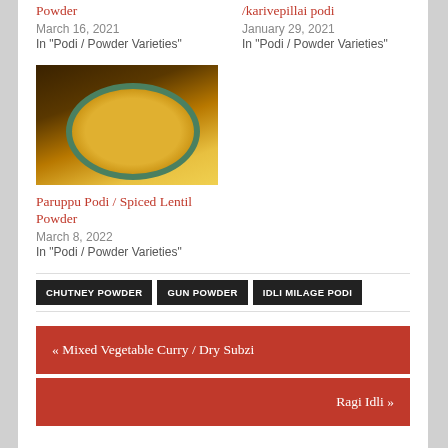Powder
/karivepillai podi
March 16, 2021
January 29, 2021
In "Podi / Powder Varieties"
In "Podi / Powder Varieties"
[Figure (photo): A bowl of yellow-orange spiced lentil powder (Paruppu Podi) on a dark background]
Paruppu Podi / Spiced Lentil Powder
March 8, 2022
In "Podi / Powder Varieties"
CHUTNEY POWDER
GUN POWDER
IDLI MILAGE PODI
« Mixed Vegetable Curry / Dry Subzi
Ragi Idli »